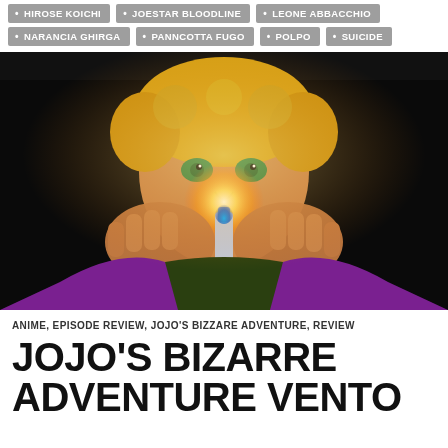HIROSE KOICHI • JOESTAR BLOODLINE • LEONE ABBACCHIO
NARANCIA GHIRGA • PANNCOTTA FUGO • POLPO • SUICIDE
[Figure (illustration): Anime screenshot showing a character with yellow/gold hair and green eyes holding a glowing lighter up to their face, dramatic dark background, from JoJo's Bizarre Adventure]
ANIME, EPISODE REVIEW, JOJO'S BIZZARE ADVENTURE, REVIEW
JOJO'S BIZARRE ADVENTURE VENTO